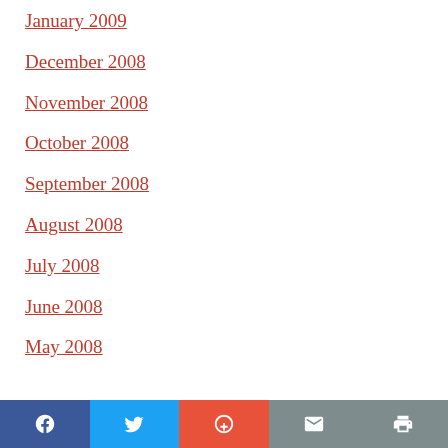January 2009
December 2008
November 2008
October 2008
September 2008
August 2008
July 2008
June 2008
May 2008